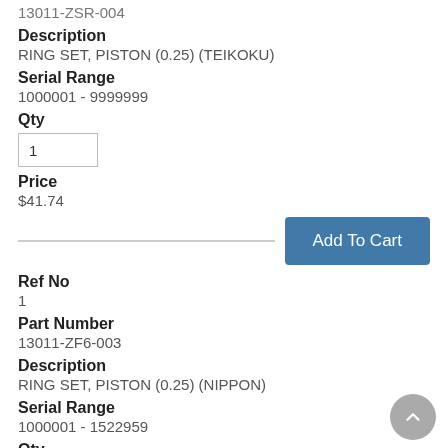13011-ZSR-004
Description
RING SET, PISTON (0.25) (TEIKOKU)
Serial Range
1000001 - 9999999
Qty
1
Price
$41.74
Add To Cart
Ref No
1
Part Number
13011-ZF6-003
Description
RING SET, PISTON (0.25) (NIPPON)
Serial Range
1000001 - 1522959
Qty